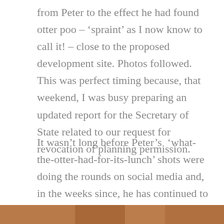from Peter to the effect he had found otter poo – 'spraint' as I now know to call it! – close to the proposed development site. Photos followed. This was perfect timing because, that weekend, I was busy preparing an updated report for the Secretary of State related to our request for revocation of planning permission.
It wasn't long before Peter's  'what-the-otter-had-for-its-lunch' shots were doing the rounds on social media and, in the weeks since, he has continued to gather photographic and video evidence, proving that otters do more than just pass through this place, but build their holts here too. Meanwhile, Jack has taken the lead on contacting the relevant agencies.
[Figure (photo): Partial view of a photo strip at the bottom of the page, showing warm brown/orange tones]